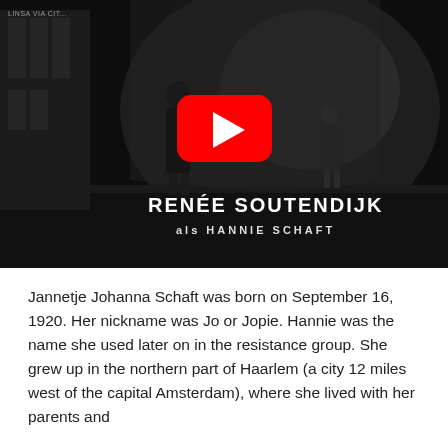[Figure (screenshot): A YouTube video thumbnail showing a black-and-white cinematic scene of a woman in dark clothing at what appears to be a train station. A red YouTube play button is centered. Text reads 'RENÉE SOUTENDIJK' and 'als HANNIE SCHAFT'. A small watermark is in the top-left corner.]
Jannetje Johanna Schaft was born on September 16, 1920. Her nickname was Jo or Jopie. Hannie was the name she used later on in the resistance group. She grew up in the northern part of Haarlem (a city 12 miles west of the capital Amsterdam), where she lived with her parents and